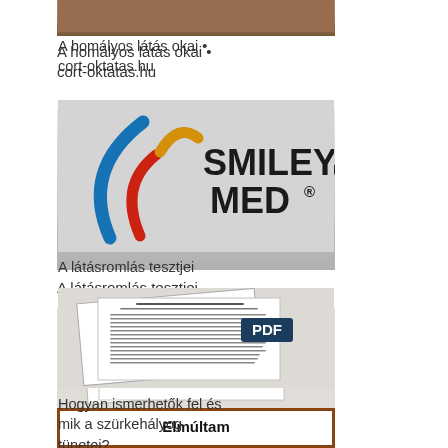[Figure (photo): Partial photo of an eye/face — blurry vision illustration, cropped at top]
A homályos látás okai • cort-oktatas.hu
[Figure (logo): Smiley Med logo with blue and red swoosh shapes and gold accent]
A látásromlás tesztjei
[Figure (screenshot): PDF document thumbnail showing text pages with PDF label badge]
Hogyan ismerhetők fel és mik a szürkehályog tünetei?
[Figure (infographic): Brown-bordered card reading Elmúltam 40, speed-limit-style circle with 40, and text Kerülje kérdéseit:]